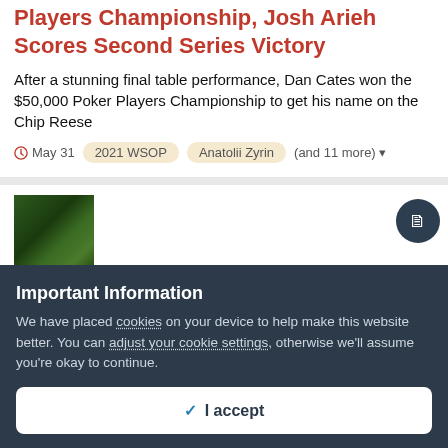WSOP 2021: Dan Jungleman Cates Wins Poker Players Championship, Josh Arieh Scores Second Series Victory
After a stunning final table performance, Dan Cates won the $50,000 Poker Players Championship to get his name on the Chip Reese
May 31  2021 WSOP  Anatolii Zyrin  (and 11 more)
[Figure (photo): Thumbnail image showing green cards/chips]
First-Round Picks: The 2021 World Series of Poker Main Event
Important Information
We have placed cookies on your device to help make this website better. You can adjust your cookie settings, otherwise we'll assume you're okay to continue.
I accept